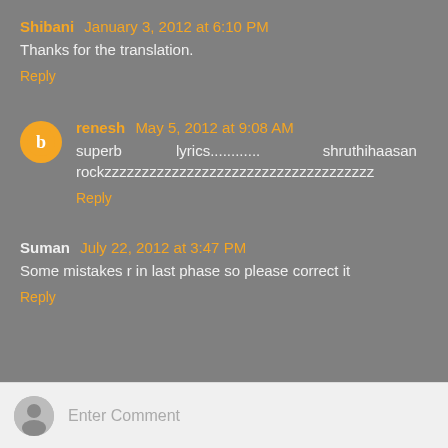Shibani January 3, 2012 at 6:10 PM
Thanks for the translation.
Reply
renesh May 5, 2012 at 9:08 AM
superb           lyrics............              shruthihaasan rockzzzzzzzzzzzzzzzzzzzzzzzzzzzzzzzzzzzz
Reply
Suman July 22, 2012 at 3:47 PM
Some mistakes r in last phase so please correct it
Reply
Enter Comment